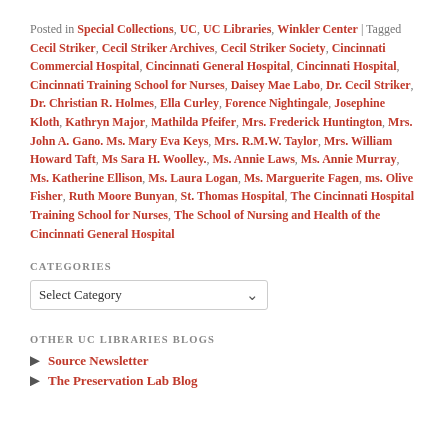Posted in Special Collections, UC, UC Libraries, Winkler Center | Tagged Cecil Striker, Cecil Striker Archives, Cecil Striker Society, Cincinnati Commercial Hospital, Cincinnati General Hospital, Cincinnati Hospital, Cincinnati Training School for Nurses, Daisey Mae Labo, Dr. Cecil Striker, Dr. Christian R. Holmes, Ella Curley, Forence Nightingale, Josephine Kloth, Kathryn Major, Mathilda Pfeifer, Mrs. Frederick Huntington, Mrs. John A. Gano. Ms. Mary Eva Keys, Mrs. R.M.W. Taylor, Mrs. William Howard Taft, Ms Sara H. Woolley., Ms. Annie Laws, Ms. Annie Murray, Ms. Katherine Ellison, Ms. Laura Logan, Ms. Marguerite Fagen, ms. Olive Fisher, Ruth Moore Bunyan, St. Thomas Hospital, The Cincinnati Hospital Training School for Nurses, The School of Nursing and Health of the Cincinnati General Hospital
CATEGORIES
Select Category
OTHER UC LIBRARIES BLOGS
Source Newsletter
The Preservation Lab Blog